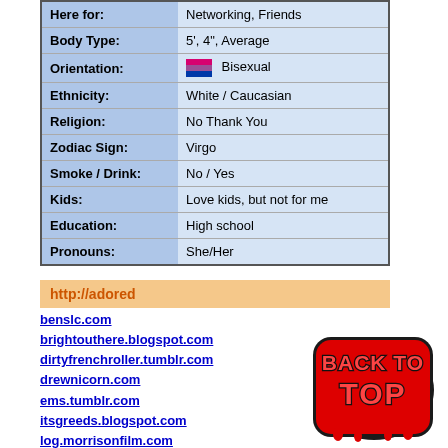| Field | Value |
| --- | --- |
| Here for: | Networking, Friends |
| Body Type: | 5', 4", Average |
| Orientation: | Bisexual |
| Ethnicity: | White / Caucasian |
| Religion: | No Thank You |
| Zodiac Sign: | Virgo |
| Smoke / Drink: | No / Yes |
| Kids: | Love kids, but not for me |
| Education: | High school |
| Pronouns: | She/Her |
http://adored
benslc.com
brightouthere.blogspot.com
dirtyfrenchroller.tumblr.com
drewnicorn.com
ems.tumblr.com
itsgreeds.blogspot.com
log.morrisonfilm.com
mattsiren.com
novarockafeller.com
purplelipstiick.blogspot.com
rangers.nhl.com
youtube.com/atleeeey
[Figure (illustration): Back to Top graffiti-style button in red with dark outline]